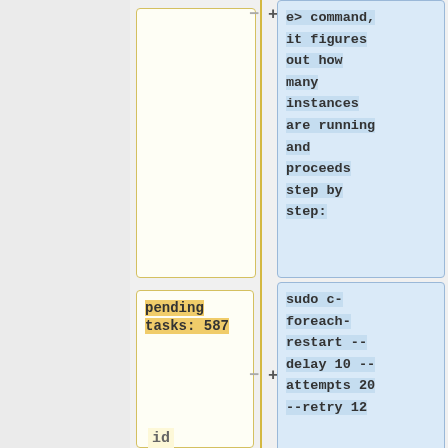e> command, it figures out how many instances are running and proceeds step by step:
pending tasks: 587
sudo c-foreach-restart --delay 10 --attempts 20 --retry 12
id